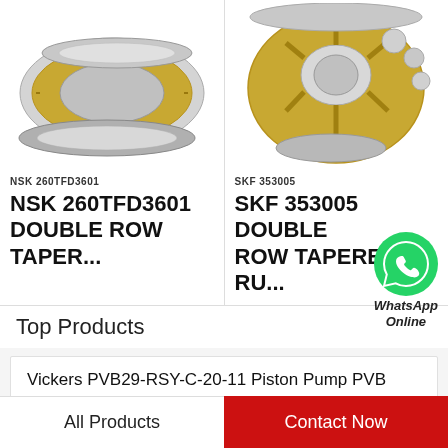[Figure (photo): NSK 260TFD3601 tapered roller bearing - thrust bearing with gold/silver coloring shown disassembled]
[Figure (photo): SKF 353005 double row tapered roller bearing - gold and silver thrust bearing components shown]
NSK 260TFD3601
SKF 353005
NSK 260TFD3601 DOUBLE ROW TAPER...
SKF 353005 DOUBLE ROW TAPERED RU...
[Figure (logo): WhatsApp green circle logo with phone icon, labeled 'WhatsApp Online']
Top Products
Vickers PVB29-RSY-C-20-11 Piston Pump PVB
Vickers PV032R1L1T1NELC4545 Piston Pump PV Series
All Products   Contact Now